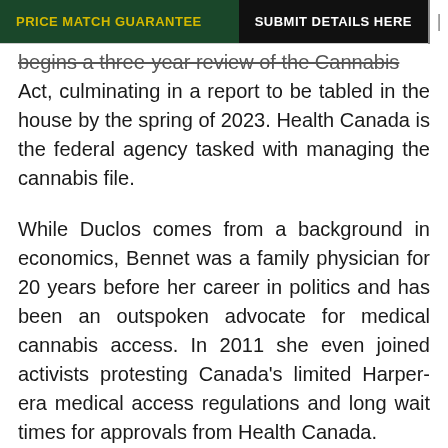PRICE MATCH GUARANTEE | SUBMIT DETAILS HERE
begins a three-year review of the Cannabis Act, culminating in a report to be tabled in the house by the spring of 2023. Health Canada is the federal agency tasked with managing the cannabis file.
While Duclos comes from a background in economics, Bennet was a family physician for 20 years before her career in politics and has been an outspoken advocate for medical cannabis access. In 2011 she even joined activists protesting Canada’s limited Harper-era medical access regulations and long wait times for approvals from Health Canada.